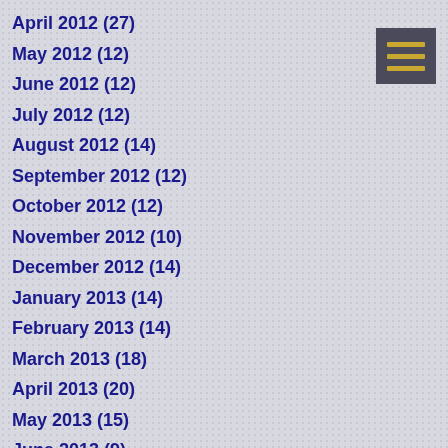April 2012 (27)
May 2012 (12)
June 2012 (12)
July 2012 (12)
August 2012 (14)
September 2012 (12)
October 2012 (12)
November 2012 (10)
December 2012 (14)
January 2013 (14)
February 2013 (14)
March 2013 (18)
April 2013 (20)
May 2013 (15)
June 2013 (9)
July 2013 (10)
August 2013 (7)
September 2013 (7)